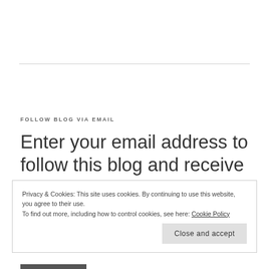FOLLOW BLOG VIA EMAIL
Enter your email address to follow this blog and receive notifications of new posts by email.
Privacy & Cookies: This site uses cookies. By continuing to use this website, you agree to their use.
To find out more, including how to control cookies, see here: Cookie Policy
Close and accept